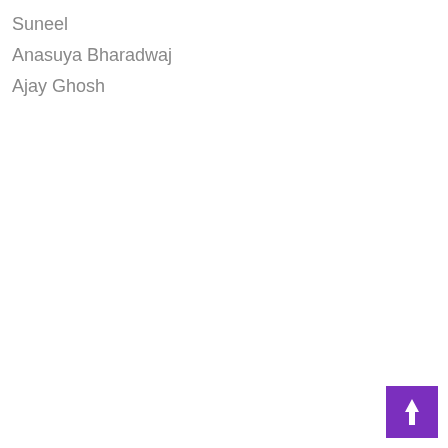Suneel
Anasuya Bharadwaj
Ajay Ghosh
[Figure (other): Purple square button with white upward arrow icon in the bottom-right corner]